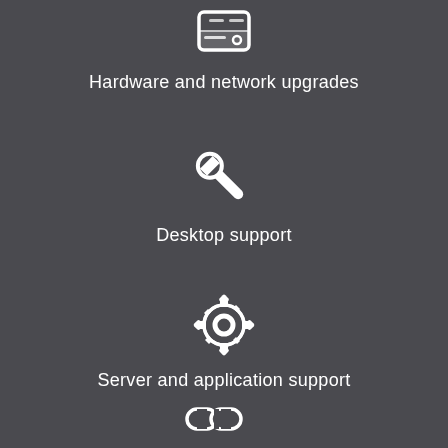[Figure (illustration): White hard drive / hardware icon]
Hardware and network upgrades
[Figure (illustration): White wrench icon for desktop support]
Desktop support
[Figure (illustration): White gear/settings icon for server and application support]
Server and application support
[Figure (illustration): White chain links icon at bottom]